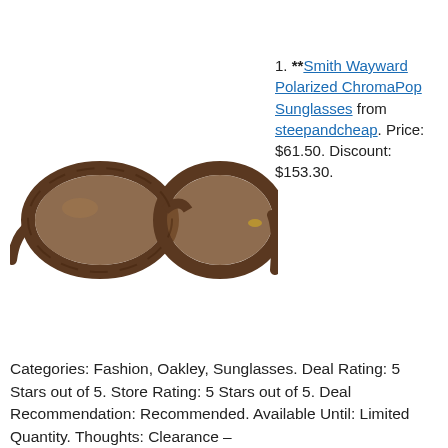[Figure (photo): Brown tortoiseshell sunglasses with polarized lenses — Smith Wayward Polarized ChromaPop Sunglasses]
** Smith Wayward Polarized ChromaPop Sunglasses from steepandcheap. Price: $61.50. Discount: $153.30.
Categories: Fashion, Oakley, Sunglasses. Deal Rating: 5 Stars out of 5. Store Rating: 5 Stars out of 5. Deal Recommendation: Recommended. Available Until: Limited Quantity. Thoughts: Clearance –